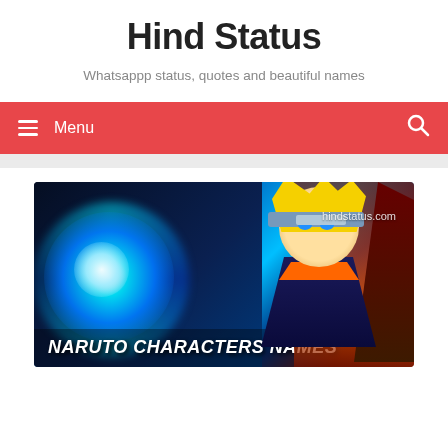Hind Status
Whatsappp status, quotes and beautiful names
Menu
[Figure (illustration): Anime character Naruto with yellow spiky hair and blue eyes in ninja outfit, holding a blue swirling energy ball, with fire and dark background. Watermark says hindstatus.com. Bottom overlay text: NARUTO CHARACTERS NAMES]